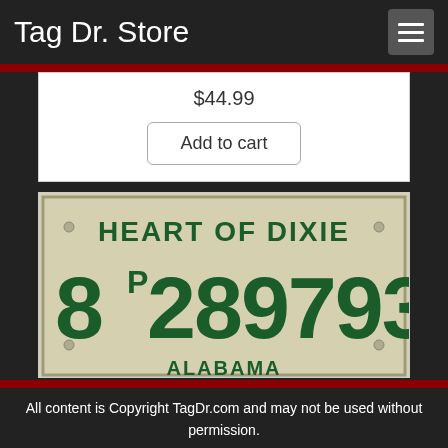Tag Dr. Store
$44.99
Add to cart
[Figure (photo): Alabama license plate reading 'HEART OF DIXIE' with number 8P 289793]
All content is Copyright TagDr.com and may not be used without permission.
928338